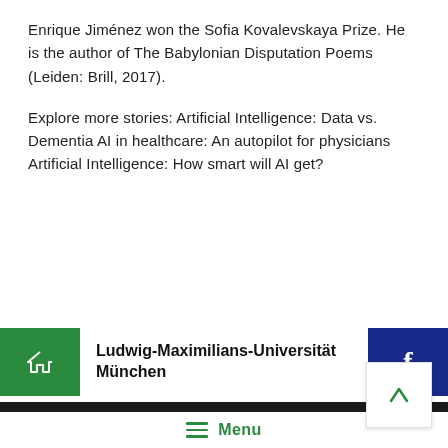Enrique Jiménez won the Sofia Kovalevskaya Prize. He is the author of The Babylonian Disputation Poems (Leiden: Brill, 2017).
Explore more stories: Artificial Intelligence: Data vs. Dementia AI in healthcare: An autopilot for physicians Artificial Intelligence: How smart will AI get?
[Figure (screenshot): Website footer with green home button, Ludwig-Maximilians-Universität München text, blue Facebook button, black stripe, Menu navigation, and green up-arrow back-to-top button]